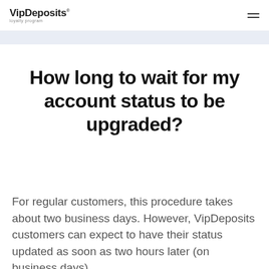VipDeposits loyalty program
How long to wait for my account status to be upgraded?
For regular customers, this procedure takes about two business days. However, VipDeposits customers can expect to have their status updated as soon as two hours later (on business days).